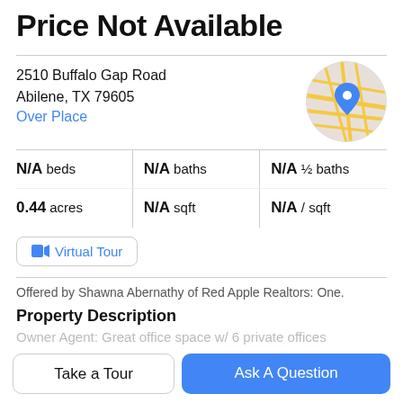Price Not Available
2510 Buffalo Gap Road
Abilene, TX 79605
Over Place
[Figure (map): Circular map thumbnail showing street map with a blue location pin marker]
N/A beds | N/A baths | N/A ½ baths | 0.44 acres | N/A sqft | N/A / sqft
Virtual Tour
Offered by Shawna Abernathy of Red Apple Realtors: One.
Property Description
Owner Agent: Great office space w/ 6 private offices
Take a Tour
Ask A Question